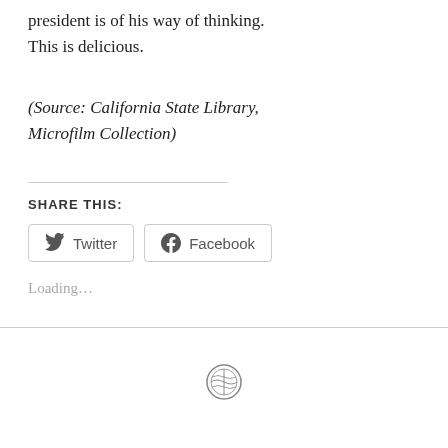president is of his way of thinking. This is delicious.
(Source: California State Library, Microfilm Collection)
SHARE THIS:
Loading...
[Figure (logo): WordPress logo circle icon at page footer]